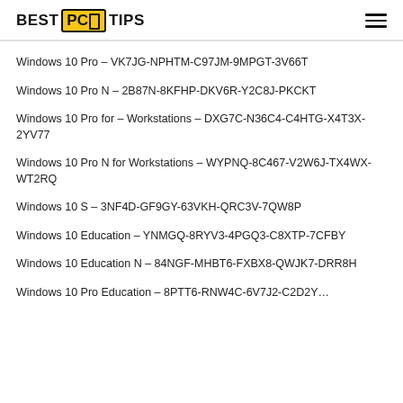BEST PC TIPS
Windows 10 Pro – VK7JG-NPHTM-C97JM-9MPGT-3V66T
Windows 10 Pro N – 2B87N-8KFHP-DKV6R-Y2C8J-PKCKT
Windows 10 Pro for – Workstations – DXG7C-N36C4-C4HTG-X4T3X-2YV77
Windows 10 Pro N for Workstations – WYPNQ-8C467-V2W6J-TX4WX-WT2RQ
Windows 10 S – 3NF4D-GF9GY-63VKH-QRC3V-7QW8P
Windows 10 Education – YNMGQ-8RYV3-4PGQ3-C8XTP-7CFBY
Windows 10 Education N – 84NGF-MHBT6-FXBX8-QWJK7-DRR8H
Windows 10 Pro Education – 8PTT6-RNW4C-6V7J2-C2D2Y...